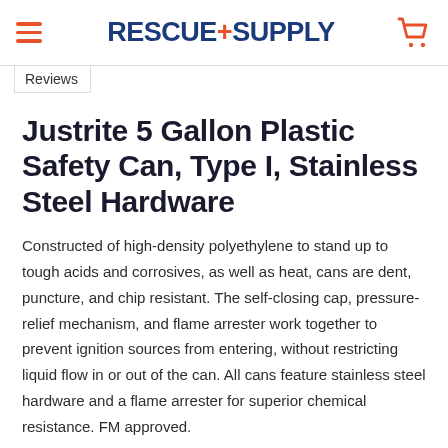RESCUE+SUPPLY
Reviews
Justrite 5 Gallon Plastic Safety Can, Type I, Stainless Steel Hardware
Constructed of high-density polyethylene to stand up to tough acids and corrosives, as well as heat, cans are dent, puncture, and chip resistant. The self-closing cap, pressure-relief mechanism, and flame arrester work together to prevent ignition sources from entering, without restricting liquid flow in or out of the can. All cans feature stainless steel hardware and a flame arrester for superior chemical resistance. FM approved.